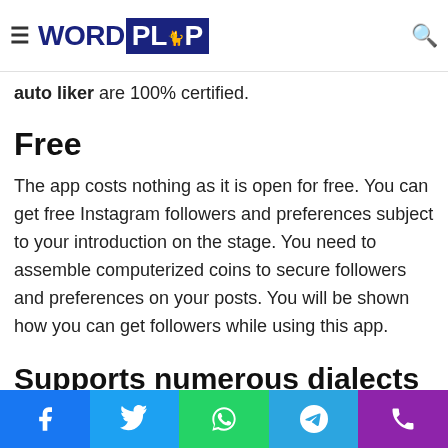WORDPLOP
certified. The app comments quickly and normally. The likes you get from this Instagram auto liker are 100% certified.
Free
The app costs nothing as it is open for free. You can get free Instagram followers and preferences subject to your introduction on the stage. You need to assemble computerized coins to secure followers and preferences on your posts. You will be shown how you can get followers while using this app.
Supports numerous dialects
The app upholds more than 16 novel dialects. You can utilize it in your supported language. You can even